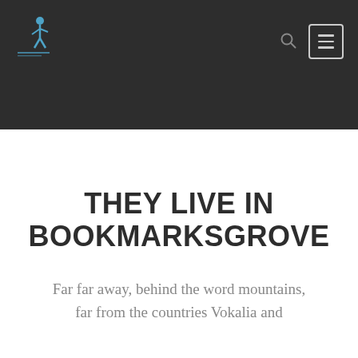[Figure (logo): Website header with dark background containing a logo (figure of person on left) and navigation icons including a search icon and hamburger menu button on the right]
THEY LIVE IN BOOKMARKSGROVE
Far far away, behind the word mountains, far from the countries Vokalia and